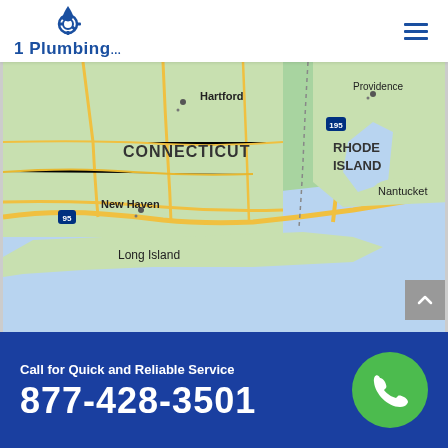[Figure (logo): 1 Plumbing logo with blue water drop and gear icon above text]
[Figure (map): Google Maps view showing Connecticut, Rhode Island, New Haven, Hartford, Providence, Nantucket, Long Island, with road network and Atlantic Ocean water area]
Call for Quick and Reliable Service
877-428-3501